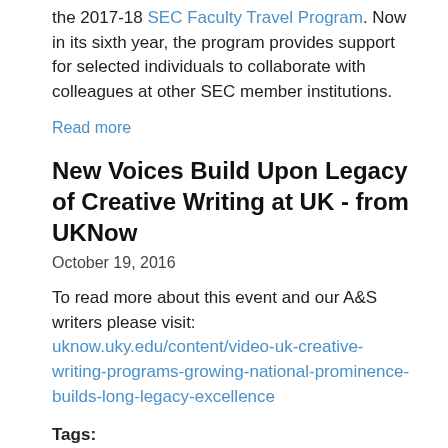the 2017-18 SEC Faculty Travel Program. Now in its sixth year, the program provides support for selected individuals to collaborate with colleagues at other SEC member institutions.
Read more
New Voices Build Upon Legacy of Creative Writing at UK - from UKNow
October 19, 2016
To read more about this event and our A&S writers please visit: uknow.uky.edu/content/video-uk-creative-writing-programs-growing-national-prominence-builds-long-legacy-excellence
Tags:
university /
sciences /